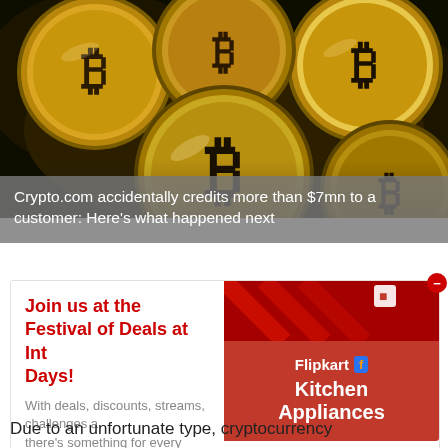[Figure (photo): Close-up photo of multiple gold Bitcoin coins with the Bitcoin symbol on a dark background]
Crypto.com accidentally credits more than $7mn to a customer: Here's what happened next
[Figure (illustration): Advertisement block: 'Join us at the Festival of Deals at Intel Gamer Days!' with Flipkart Kitchen Appliances promotional image]
Due to an unfortunate type, cryptocurrency